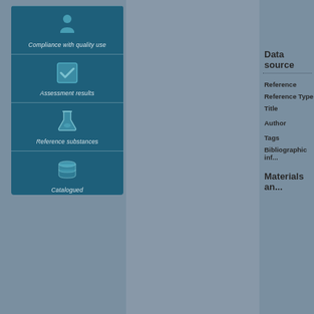[Figure (flowchart): Vertical blue flowchart panel with three sections: top section with a 'Compliance with quality use' label and icon, middle section with checkmark icon and 'Assessment results' label, middle section with flask/lab icon and 'Reference substances' label, bottom section with database icon and 'Catalogued' label.]
Data source
Reference
Reference Type
Title
Author
Tags
Bibliographic information
Materials and